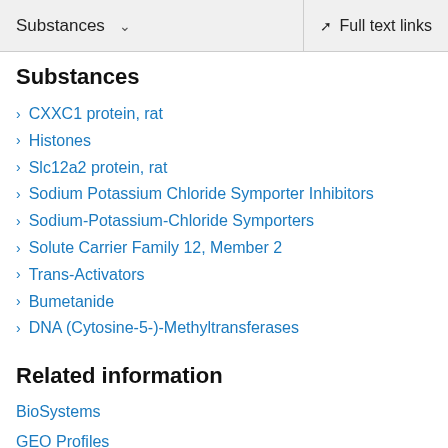Substances  ∨  Full text links
Substances
CXXC1 protein, rat
Histones
Slc12a2 protein, rat
Sodium Potassium Chloride Symporter Inhibitors
Sodium-Potassium-Chloride Symporters
Solute Carrier Family 12, Member 2
Trans-Activators
Bumetanide
DNA (Cytosine-5-)-Methyltransferases
Related information
BioSystems
GEO Profiles
Gene